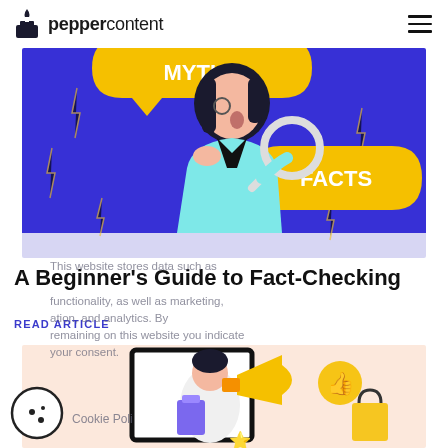peppercontent
[Figure (illustration): Illustration of a woman holding a magnifying glass on a purple/blue background with speech bubbles labeled MYTHS and FACTS in yellow/gold]
This website stores data such as
A Beginner’s Guide to Fact-Checking
functionality, as well as marketing,
READ ARTICLE
ation, and analytics. By remaining on this website you indicate your consent.
[Figure (illustration): Illustration of a woman with a megaphone coming out of a screen/monitor on a peach/light background]
Cookie Poli